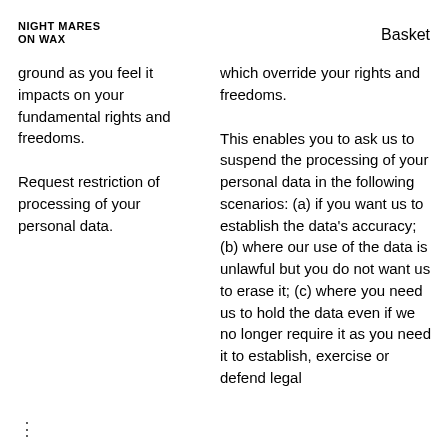NIGHTMARES ON WAX   Basket
ground as you feel it impacts on your fundamental rights and freedoms.
which override your rights and freedoms.
Request restriction of processing of your personal data.
This enables you to ask us to suspend the processing of your personal data in the following scenarios: (a) if you want us to establish the data's accuracy; (b) where our use of the data is unlawful but you do not want us to erase it; (c) where you need us to hold the data even if we no longer require it as you need it to establish, exercise or defend legal
⋮